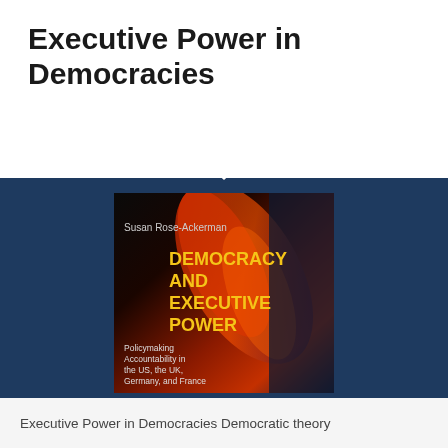Executive Power in Democracies
[Figure (photo): Book cover of 'Democracy and Executive Power' by Susan Rose-Ackerman. The cover features a dramatic red and dark abstract flame/motion texture background. Title text in large yellow bold letters reads 'DEMOCRACY AND EXECUTIVE POWER'. Below the author name 'Susan Rose-Ackerman' in white. Subtitle reads 'Policymaking Accountability in the US, the UK, Germany, and France' in white text.]
Executive Power in Democracies Democratic theory